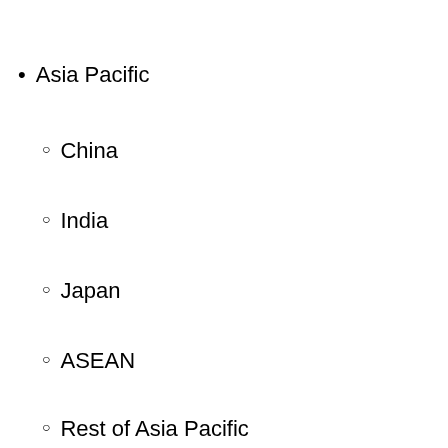Asia Pacific
China
India
Japan
ASEAN
Rest of Asia Pacific